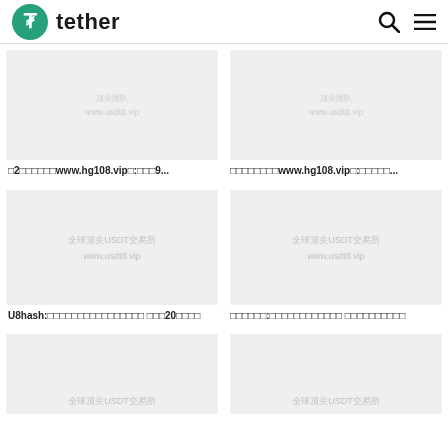tether
[Figure (screenshot): Thumbnail image with watermark text showing top line and www.usdt8.vip]
�2������www.hg108.vip�:���9...
[Figure (screenshot): Thumbnail image with watermark text showing top line and www.usdt8.vip]
��������www.hg108.vip�:������...
[Figure (screenshot): Thumbnail image with watermark 全球顶尖USDT交易所 www.usdt8.vip]
U8hash:���������������� ���20����
[Figure (screenshot): Thumbnail image with watermark 全球顶尖USDT交易所 www.usdt8.vip]
������:���������� ����������
[Figure (screenshot): Thumbnail image with watermark 全球顶尖USDT交易所 www.usdt8.vip (partial, bottom cut off)]
[Figure (screenshot): Thumbnail image with watermark 全球顶尖USDT交易所 www.usdt8.vip (partial, bottom cut off)]